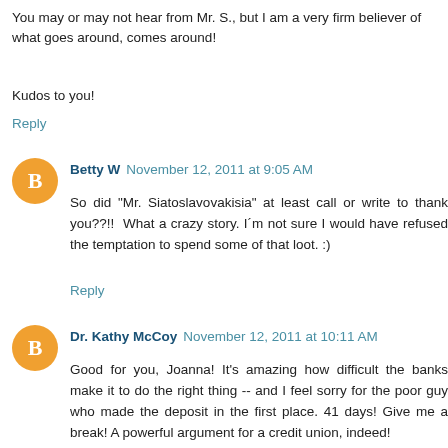You may or may not hear from Mr. S., but I am a very firm believer of what goes around, comes around!
Kudos to you!
Reply
Betty W  November 12, 2011 at 9:05 AM
So did "Mr. Siatoslavovakisia" at least call or write to thank you??!!  What a crazy story. I´m not sure I would have refused the temptation to spend some of that loot. :)
Reply
Dr. Kathy McCoy  November 12, 2011 at 10:11 AM
Good for you, Joanna! It's amazing how difficult the banks make it to do the right thing -- and I feel sorry for the poor guy who made the deposit in the first place. 41 days! Give me a break! A powerful argument for a credit union, indeed!